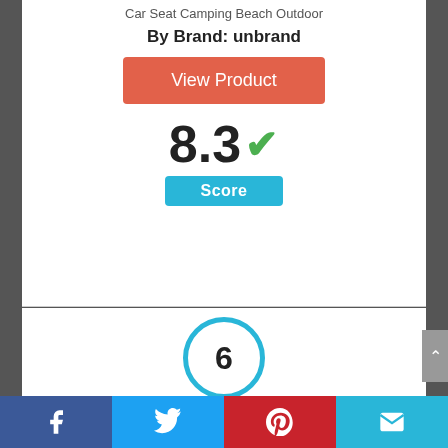Car Seat Camping Beach Outdoor
By Brand: unbrand
View Product
[Figure (infographic): Score display showing 8.3 with a green checkmark and a blue 'Score' label below]
[Figure (infographic): Blue circle with the number 6 inside]
Facebook | Twitter | Pinterest | Email social share bar